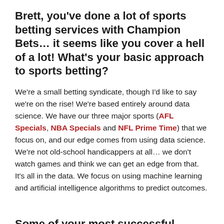Brett, you've done a lot of sports betting services with Champion Bets… it seems like you cover a hell of a lot! What's your basic approach to sports betting?
We're a small betting syndicate, though I'd like to say we're on the rise! We're based entirely around data science. We have our three major sports (AFL Specials, NBA Specials and NFL Prime Time) that we focus on, and our edge comes from using data science. We're not old-school handicappers at all… we don't watch games and think we can get an edge from that. It's all in the data. We focus on using machine learning and artificial intelligence algorithms to predict outcomes.
Some of your most successful packages have targeted player bets. Why is that?
We're not just about player bets. We've modelled basically